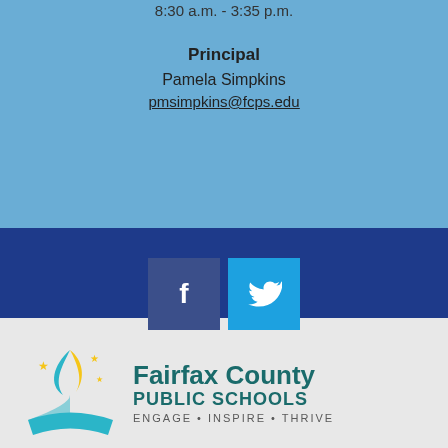8:30 a.m. - 3:35 p.m.
Principal
Pamela Simpkins
pmsimpkins@fcps.edu
[Figure (logo): Facebook and Twitter social media icon buttons]
[Figure (logo): Fairfax County Public Schools logo with torch/book graphic and tagline: ENGAGE • INSPIRE • THRIVE]